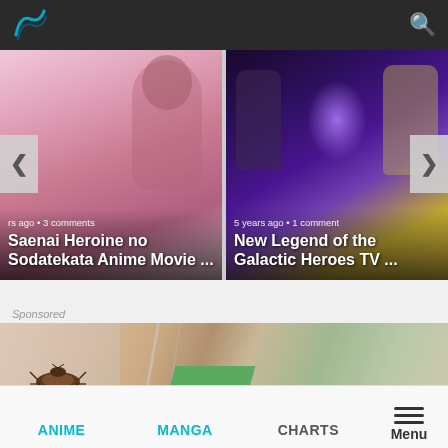Logo and search icon navigation bar
[Figure (illustration): Anime carousel card left: Saenai Heroine no Sodatekata Anime Movie illustration with pink-haired girl, metadata 'rs ago • 3 comments']
Saenai Heroine no Sodatekata Anime Movie ...
[Figure (illustration): Anime carousel card right: New Legend of the Galactic Heroes TV illustration with characters and purple light, metadata '5 years ago • 1 comment']
New Legend of the Galactic Heroes TV ...
Sponsored
[Figure (illustration): Sponsored banner image: anime-style illustration featuring a cockroach on a surface with geometric shapes in peach, green, and gray tones]
ANIME   MANGA   CHARTS   Menu